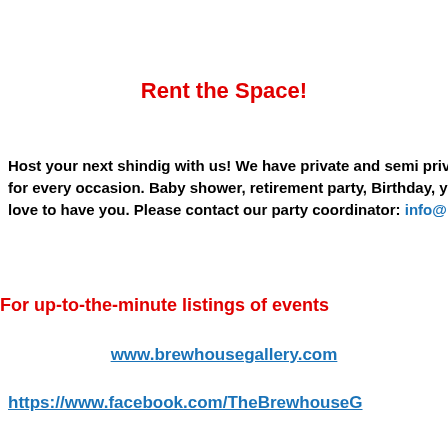Rent the Space!
Host your next shindig with us! We have private and semi private spaces for every occasion. Baby shower, retirement party, Birthday, you name it we love to have you. Please contact our party coordinator: info@B...
For up-to-the-minute listings of events
www.brewhousegallery.com
https://www.facebook.com/TheBrewhouseG...